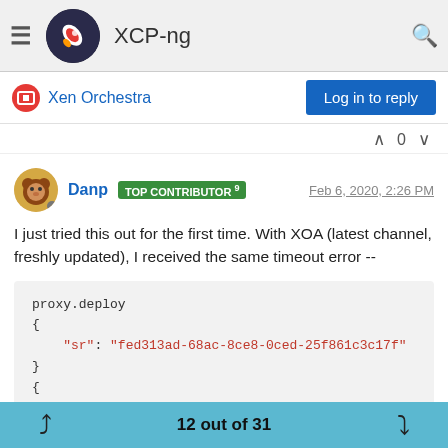XCP-ng
Xen Orchestra
Danp TOP CONTRIBUTOR 9  Feb 6, 2020, 2:26 PM
I just tried this out for the first time. With XOA (latest channel, freshly updated), I received the same timeout error --
[Figure (screenshot): Code block showing proxy.deploy call with sr parameter and error response with message: operation timed out, name: TimeoutError, stack: TimeoutError: operation timed out]
12 out of 31